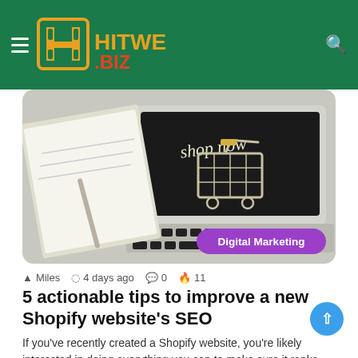HITWE.BIZ
[Figure (photo): Shopping cart miniature on laptop keyboard with notebook, 'shop now' text on screen. Digital Marketing category badge in purple.]
Miles  4 days ago  0  11
5 actionable tips to improve a new Shopify website's SEO
If you've recently created a Shopify website, you're likely interested in doing everything you can to make sure it ranks…